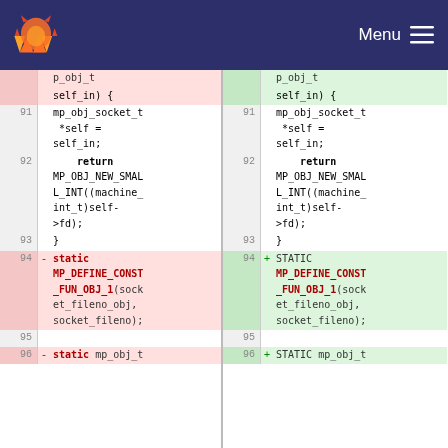GitLab — Menu
[Figure (screenshot): Side-by-side code diff view showing lines 91-96 of a C source file. Left panel (old) shows 'static' keyword; right panel (new) shows 'STATIC'. Line 94 is a deletion/addition: left has '- static MP_DEFINE_CONST_FUN_OBJ_1(socket_fileno_obj, socket_fileno);', right has '+ STATIC MP_DEFINE_CONST_FUN_OBJ_1(socket_fileno_obj, socket_fileno);'. Line 96 left: '- static mp_obj_t', right: '+ STATIC mp_obj_t'.]